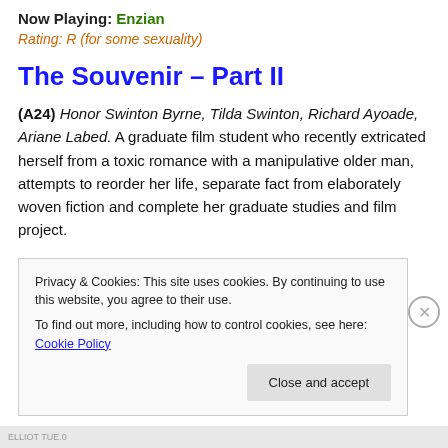Now Playing: Enzian
Rating: R (for some sexuality)
The Souvenir – Part II
(A24) Honor Swinton Byrne, Tilda Swinton, Richard Ayoade, Ariane Labed. A graduate film student who recently extricated herself from a toxic romance with a manipulative older man, attempts to reorder her life, separate fact from elaborately woven fiction and complete her graduate studies and film project.
Privacy & Cookies: This site uses cookies. By continuing to use this website, you agree to their use.
To find out more, including how to control cookies, see here: Cookie Policy
Close and accept